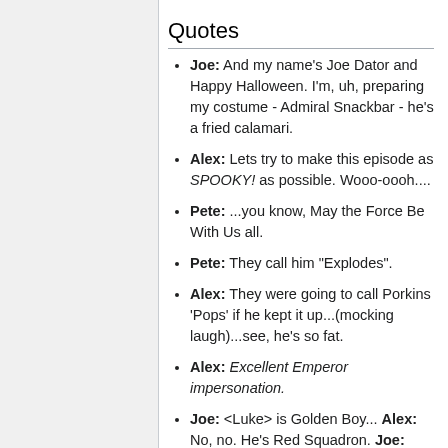Quotes
Joe: And my name's Joe Dator and Happy Halloween. I'm, uh, preparing my costume - Admiral Snackbar - he's a fried calamari.
Alex: Lets try to make this episode as SPOOKY! as possible. Wooo-oooh....
Pete: ...you know, May the Force Be With Us all.
Pete: They call him "Explodes".
Alex: They were going to call Porkins 'Pops' if he kept it up...(mocking laugh)...see, he's so fat.
Alex: Excellent Emperor impersonation.
Joe: <Luke> is Golden Boy... Alex: No, no. He's Red Squadron. Joe: